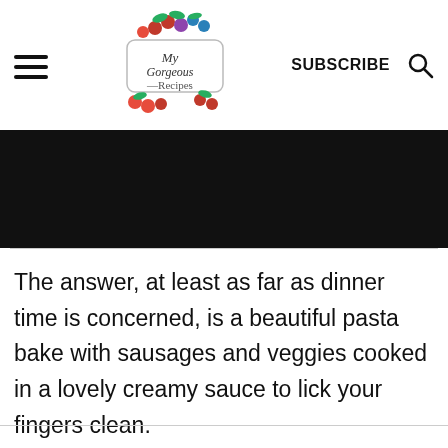SUBSCRIBE
[Figure (photo): Partial view of a dark/black image strip, likely a food photo, cropped at the top of the content area]
The answer, at least as far as dinner time is concerned, is a beautiful pasta bake with sausages and veggies cooked in a lovely creamy sauce to lick your fingers clean.